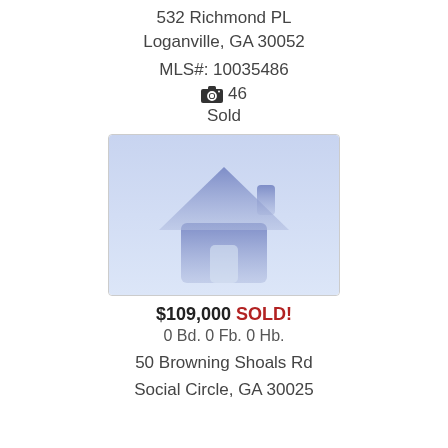532 Richmond PL
Loganville, GA 30052
MLS#: 10035486
📷 46
Sold
[Figure (illustration): Placeholder home image with light blue background and a blue house silhouette icon centered.]
$109,000 SOLD!
0 Bd. 0 Fb. 0 Hb.
50 Browning Shoals Rd
Social Circle, GA 30025